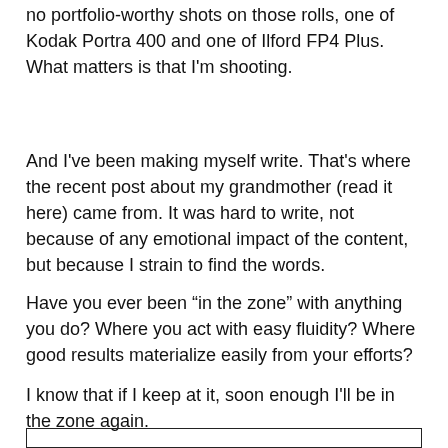no portfolio-worthy shots on those rolls, one of Kodak Portra 400 and one of Ilford FP4 Plus. What matters is that I'm shooting.
And I've been making myself write. That's where the recent post about my grandmother (read it here) came from. It was hard to write, not because of any emotional impact of the content, but because I strain to find the words.
Have you ever been “in the zone” with anything you do? Where you act with easy fluidity? Where good results materialize easily from your efforts?
I know that if I keep at it, soon enough I'll be in the zone again.